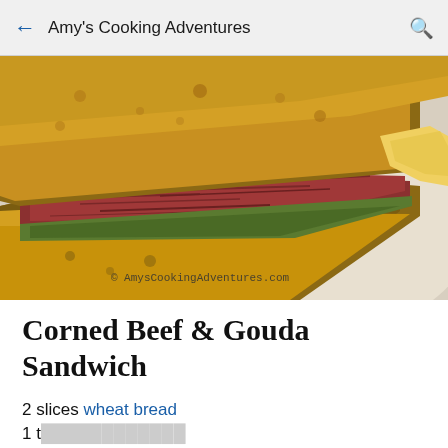Amy's Cooking Adventures
[Figure (photo): Close-up photo of a corned beef and Gouda sandwich on toasted wheat bread, showing layers of sliced corned beef, melted cheese, and what appears to be pickles or relish, with watermark '© AmysCookingAdventures.com']
Corned Beef & Gouda Sandwich
2 slices wheat bread
1 t...